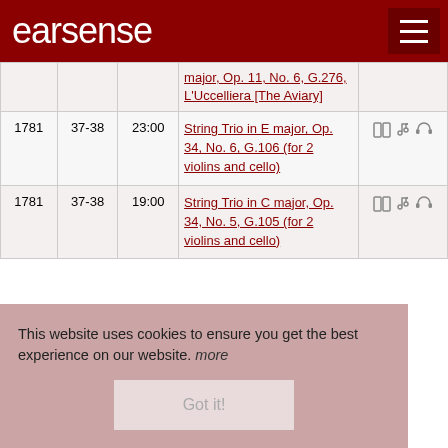earsense
| Year | Pg | Duration | Title | Icons |
| --- | --- | --- | --- | --- |
|  |  |  | major, Op. 11, No. 6, G.276, L'Uccelliera [The Aviary] |  |
| 1781 | 37-38 | 23:00 | String Trio in E major, Op. 34, No. 6, G.106 (for 2 violins and cello) | book, music, headphones |
| 1781 | 37-38 | 19:00 | String Trio in C major, Op. 34, No. 5, G.105 (for 2 violins and cello) | book, music, headphones |
This website uses cookies to ensure you get the best experience on our website. more
Got it!